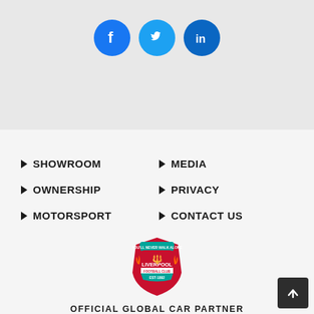[Figure (logo): Social media icons: Facebook (blue circle with f), Twitter (blue circle with bird), LinkedIn (blue circle with in)]
SHOWROOM
MEDIA
OWNERSHIP
PRIVACY
MOTORSPORT
CONTACT US
[Figure (logo): Liverpool Football Club crest badge - red shield with Liver bird, 'You'll Never Walk Alone' banner, EST 1892, with green and gold detailing]
OFFICIAL GLOBAL CAR PARTNER